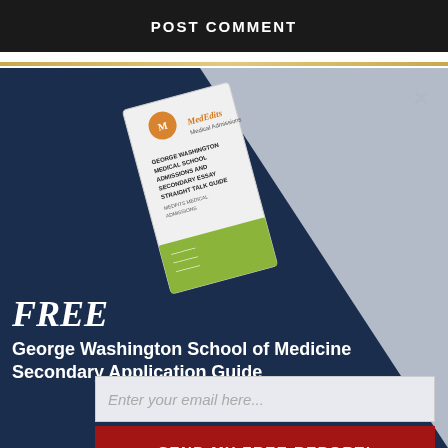POST COMMENT
[Figure (illustration): MedEdits Medical Admissions book cover showing 'George Washington Medical School Admissions and Secondary Essay Secondary Talk Guide']
FREE
George Washington School of Medicine Secondary Application Guide
Enter your email here...
SEND MY FREE REPORT!